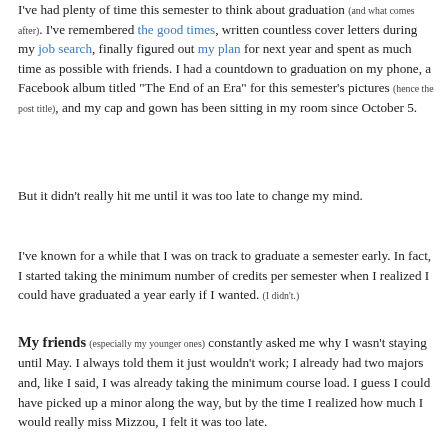I've had plenty of time this semester to think about graduation (and what comes after). I've remembered the good times, written countless cover letters during my job search, finally figured out my plan for next year and spent as much time as possible with friends. I had a countdown to graduation on my phone, a Facebook album titled "The End of an Era" for this semester's pictures (hence the post title), and my cap and gown has been sitting in my room since October 5.
But it didn't really hit me until it was too late to change my mind.
I've known for a while that I was on track to graduate a semester early. In fact, I started taking the minimum number of credits per semester when I realized I could have graduated a year early if I wanted. (I didn't.)
My friends (especially my younger ones) constantly asked me why I wasn't staying until May. I always told them it just wouldn't work; I already had two majors and, like I said, I was already taking the minimum course load. I guess I could have picked up a minor along the way, but by the time I realized how much I would really miss Mizzou, I felt it was too late.